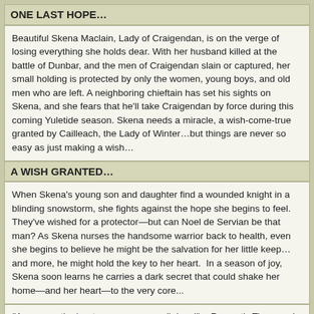ONE LAST HOPE…
Beautiful Skena Maclain, Lady of Craigendan, is on the verge of losing everything she holds dear. With her husband killed at the battle of Dunbar, and the men of Craigendan slain or captured, her small holding is protected by only the women, young boys, and old men who are left. A neighboring chieftain has set his sights on Skena, and she fears that he'll take Craigendan by force during this coming Yuletide season. Skena needs a miracle, a wish-come-true granted by Cailleach, the Lady of Winter…but things are never so easy as just making a wish…
A WISH GRANTED…
When Skena's young son and daughter find a wounded knight in a blinding snowstorm, she fights against the hope she begins to feel. They've wished for a protector—but can Noel de Servian be that man? As Skena nurses the handsome warrior back to health, even she begins to believe he might be the salvation for her little keep…and more, he might hold the key to her heart.  In a season of joy, Skena soon learns he carries a dark secret that could shake her home—and her heart—to the very core...
"A sexy captive/captor romance. . .well done!" —Romantic Times on In Her Bed